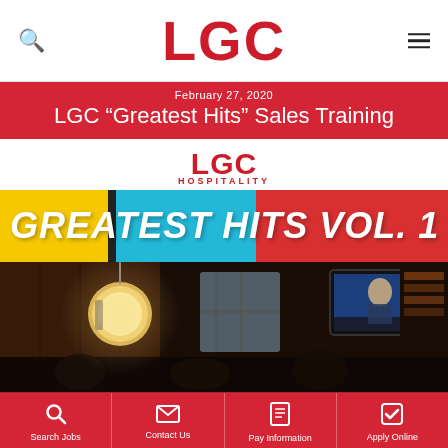LGC
February 27, 2020
LGC “Greatest Hits” Sales Training
[Figure (logo): LGC Hospitality logo in red with HOSPITALITY text below]
[Figure (illustration): Greatest Hits Vol. 1 banner with yellow, black stripe, cyan, and red background sections and white italic bold text]
[Figure (photo): Interior of a bar/restaurant with dim lighting, globe pendant lamp on left, TV screen on right showing a news broadcast, people seated in foreground]
Search Jobs | Contact Us | Pay Information | Apply Online